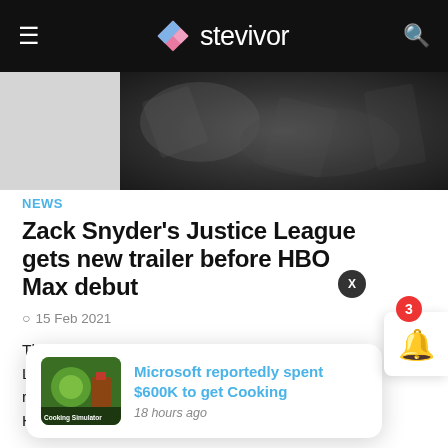stevivor
[Figure (photo): Dark hero image with abstract shapes]
NEWS
Zack Snyder's Justice League gets new trailer before HBO Max debut
15 Feb 2021
The first proper trailer for Zach Snyder's Justice League is today available, showing off the revamped DC Comics film that's heading straight for HBO Max.
[Figure (screenshot): Notification card: Microsoft reportedly spent $600K to get Cooking, 18 hours ago, with Cooking Simulator thumbnail]